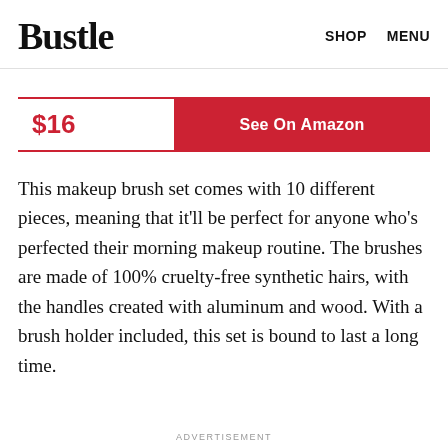Bustle   SHOP   MENU
$16
See On Amazon
This makeup brush set comes with 10 different pieces, meaning that it’ll be perfect for anyone who’s perfected their morning makeup routine. The brushes are made of 100% cruelty-free synthetic hairs, with the handles created with aluminum and wood. With a brush holder included, this set is bound to last a long time.
ADVERTISEMENT